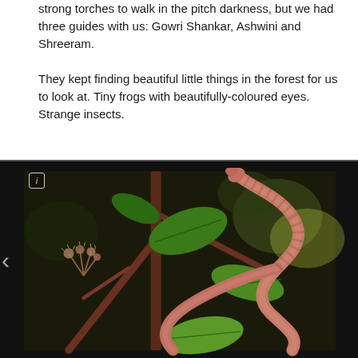strong torches to walk in the pitch darkness, but we had three guides with us: Gowri Shankar, Ashwini and Shreeram.
They kept finding beautiful little things in the forest for us to look at. Tiny frogs with beautifully-coloured eyes. Strange insects.
And, of course, Gowri Shankar found us a cat snake entwined around a bush. We all took our turns photographing.
[Figure (photo): A close-up photograph of a brown cat snake coiled and entwined around the branches and leaves of a bush, set against a dark background. The snake has a slender body with brownish-pink coloring and is weaving through green leaves and bare twigs. A navigation arrow is visible on the left side.]